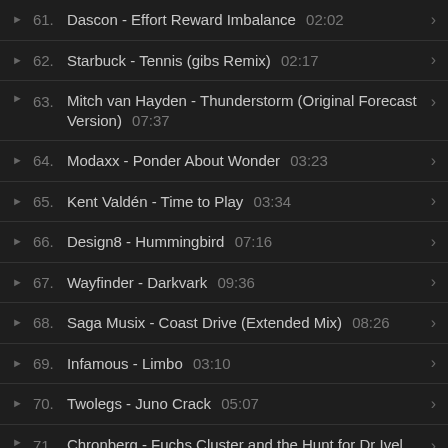61. Dascon - Effort Reward Imbalance 02:02
62. Starbuck - Tennis (gibs Remix) 02:17
63. Mitch van Hayden - Thunderstorm (Original Forecast Version) 07:37
64. Modaxx - Ponder About Wonder 03:23
65. Kent Valdén - Time to Play 03:34
66. Design8 - Hummingbird 07:16
67. Wayfinder - Darkvark 09:36
68. Saga Musix - Coast Drive (Extended Mix) 08:26
69. Infamous - Limbo 03:10
70. Twolegs - Juno Crack 05:07
71. Chronberg - Fuchs Cluster and the Hunt for Dr Ivel (SoS4 Edit) 03:38